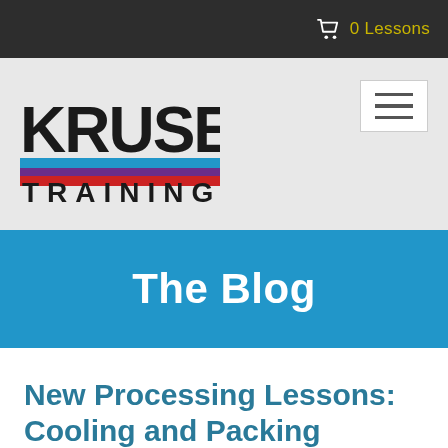0 Lessons
[Figure (logo): Kruse Training logo with bold KRUSE text and colored stripe bar (blue, purple, red), with TRAINING text below]
The Blog
New Processing Lessons: Cooling and Packing